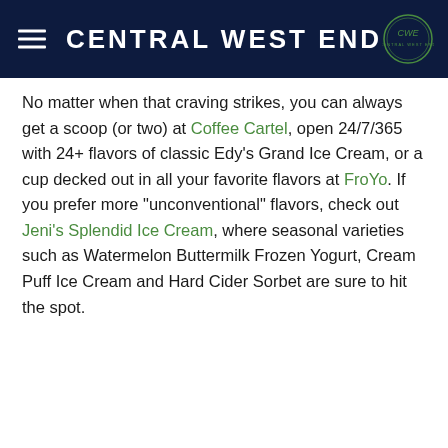CENTRAL WEST END
No matter when that craving strikes, you can always get a scoop (or two) at Coffee Cartel, open 24/7/365 with 24+ flavors of classic Edy's Grand Ice Cream, or a cup decked out in all your favorite flavors at FroYo. If you prefer more “unconventional” flavors, check out Jeni’s Splendid Ice Cream, where seasonal varieties such as Watermelon Buttermilk Frozen Yogurt, Cream Puff Ice Cream and Hard Cider Sorbet are sure to hit the spot.